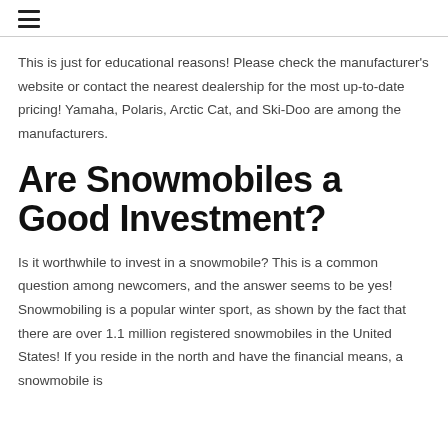≡
This is just for educational reasons! Please check the manufacturer's website or contact the nearest dealership for the most up-to-date pricing! Yamaha, Polaris, Arctic Cat, and Ski-Doo are among the manufacturers.
Are Snowmobiles a Good Investment?
Is it worthwhile to invest in a snowmobile? This is a common question among newcomers, and the answer seems to be yes! Snowmobiling is a popular winter sport, as shown by the fact that there are over 1.1 million registered snowmobiles in the United States! If you reside in the north and have the financial means, a snowmobile is